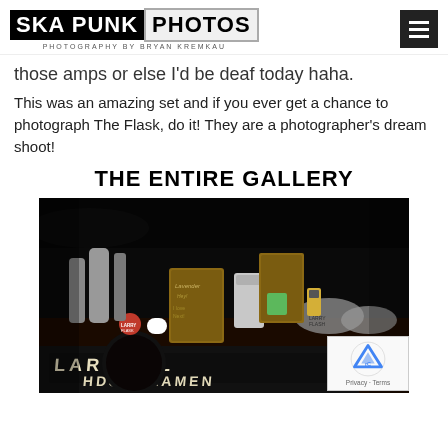SKA PUNK PHOTOS — Photography by Bryan Kremkau
those amps or else I'd be deaf today haha.
This was an amazing set and if you ever get a chance to photograph The Flask, do it! They are a photographer's dream shoot!
THE ENTIRE GALLERY
[Figure (photo): Merchandise table with various items including hats, cups, wooden signs, stickers and a banner reading 'LARRY FLASH' and 'HD30S LAMENT' in a dark venue setting.]